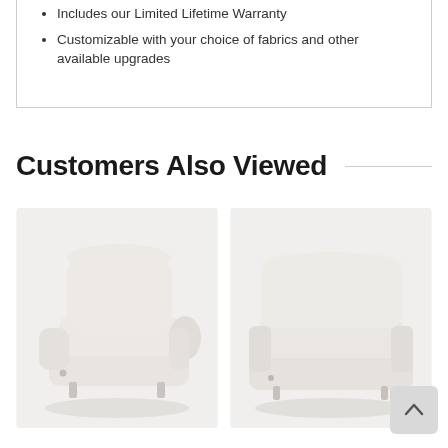Includes our Limited Lifetime Warranty
Customizable with your choice of fabrics and other available upgrades
Customers Also Viewed
[Figure (photo): White upholstered recliner chair with rolled arms, shown in a slightly angled front view]
[Figure (photo): White leather power recliner loveseat or wide chair with sleek modern arms, shown in a slightly angled front view]